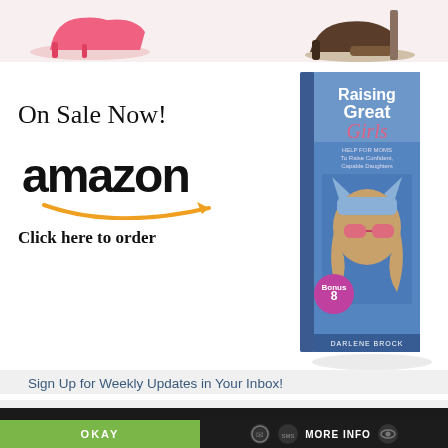[Figure (photo): Photo strip showing pink high-heeled shoes on the left and a dark brown heeled shoe on the right, on a white background]
On Sale Now!
[Figure (logo): Amazon logo with orange smile/arrow beneath]
Click here to order
[Figure (photo): Book cover: 'Raising Great Girls – Help for Moms to Raise Confident, Capable Daughters' by Darlene Brock, showing a young girl wearing cat-ear hat and pink sunglasses]
Sign Up for Weekly Updates in Your Inbox!
Your First Name
This website uses cookies
OKAY
MORE INFO